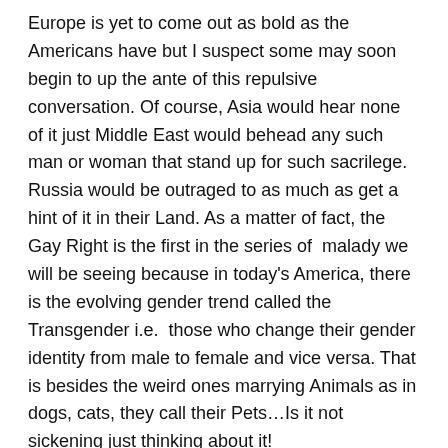Europe is yet to come out as bold as the Americans have but I suspect some may soon begin to up the ante of this repulsive conversation. Of course, Asia would hear none of it just Middle East would behead any such man or woman that stand up for such sacrilege. Russia would be outraged to as much as get a hint of it in their Land. As a matter of fact, the Gay Right is the first in the series of  malady we will be seeing because in today's America, there is the evolving gender trend called the Transgender i.e.  those who change their gender identity from male to female and vice versa. That is besides the weird ones marrying Animals as in dogs, cats, they call their Pets…Is it not sickening just thinking about it!
All said, I empathized with both the Affected and Infected by this madness and I believe they need our prayers. It is about the sacredness of God's Order and the challenge of it by Man. Someone or Monit is like a man printed before he does